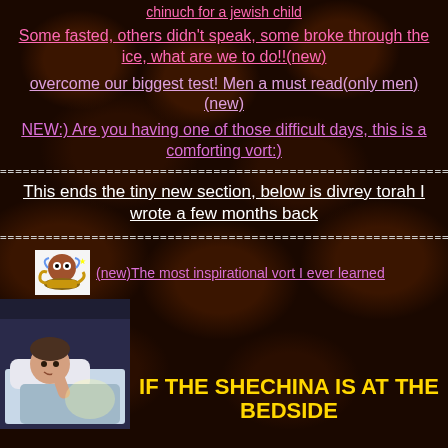chinuch for a jewish child
Some fasted, others didn't speak, some broke through the ice, what are we to do!!(new)
overcome our biggest test! Men a must read(only men) (new)
NEW:) Are you having one of those difficult days, this is a comforting vort:)
=================================================
This ends the tiny new section, below is divrey torah I wrote a few months back
=================================================
[Figure (illustration): Small pixel art icon of a genie lamp with eyes]
(new)The most inspirational vort I ever learned
[Figure (photo): Photo of a young child in bed with light]
IF THE SHECHINA IS AT THE BEDSIDE